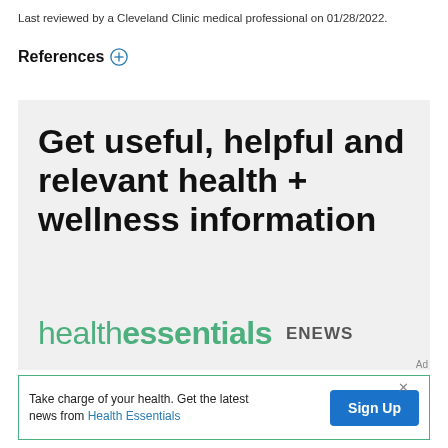Last reviewed by a Cleveland Clinic medical professional on 01/28/2022.
References +
[Figure (infographic): Cleveland Clinic Health Essentials ENEWS promotional box with large bold headline 'Get useful, helpful and relevant health + wellness information' and healthessentials logo in green with ENEWS label.]
Ad
Take charge of your health. Get the latest news from Health Essentials  Sign Up